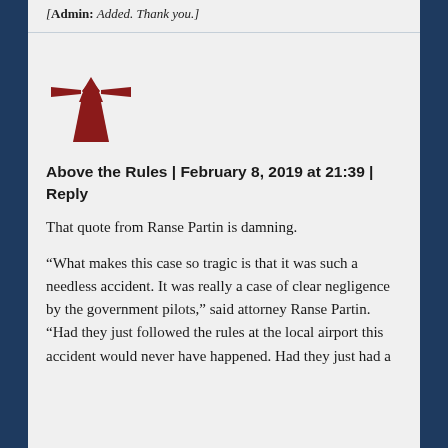[Admin: Added. Thank you.]
[Figure (logo): Red lighthouse icon — stylized lighthouse shape with horizontal beam arms at the top, dark red/maroon color]
Above the Rules | February 8, 2019 at 21:39 | Reply
That quote from Ranse Partin is damning.
“What makes this case so tragic is that it was such a needless accident. It was really a case of clear negligence by the government pilots,” said attorney Ranse Partin. “Had they just followed the rules at the local airport this accident would never have happened. Had they just had a